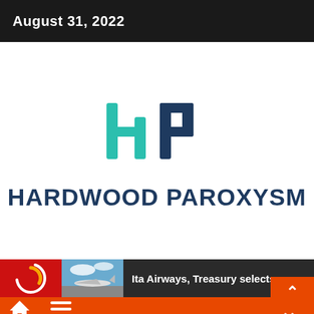August 31, 2022
[Figure (logo): Hardwood Paroxysm logo — HP monogram with teal/dark-blue stylized letters]
HARDWOOD PAROXYSM
Ita Airways, Treasury selects consortium Certa
[Figure (photo): Small thumbnail photo of an airplane on tarmac under blue sky]